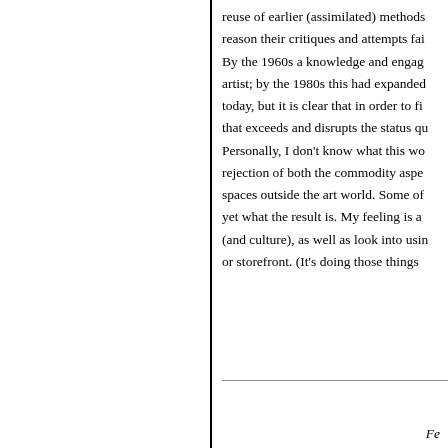reuse of earlier (assimilated) methods reason their critiques and attempts fai By the 1960s a knowledge and engag artist; by the 1980s this had expanded today, but it is clear that in order to fi that exceeds and disrupts the status qu Personally, I don't know what this wo rejection of both the commodity aspe spaces outside the art world. Some of yet what the result is. My feeling is a (and culture), as well as look into usin or storefront. (It's doing those things
Fe